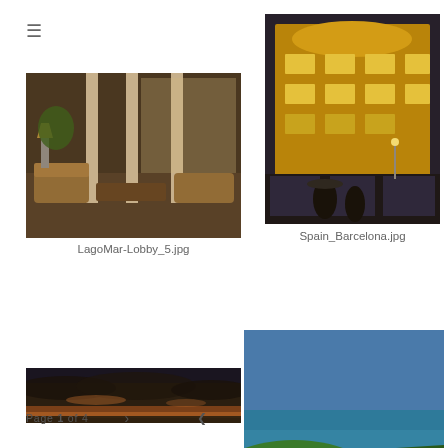[Figure (photo): Hotel lobby interior at night with plush seating, warm lighting, tall columns and tropical plants]
LagoMar-Lobby_5.jpg
[Figure (photo): Night photo of an ornate illuminated building facade in Barcelona, Spain, with people on the street]
Spain_Barcelona.jpg
[Figure (photo): Wide panoramic photo of a dramatic sky with clouds at sunset over water]
[Figure (photo): Coastal landscape with green hills, red flowers, blue ocean and sky]
Page 1 of 4